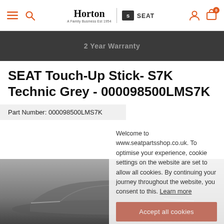Horton | SEAT — Navigation header with menu, search, logo, user and bag icons
2 Year Warranty
SEAT Touch-Up Stick- S7K Technic Grey - 000098500LMS7K
Part Number: 000098500LMS7K
Welcome to www.seatpartsshop.co.uk. To optimise your experience, cookie settings on the website are set to allow all cookies. By continuing your journey throughout the website, you consent to this. Learn more
Accept all cookies
[Figure (photo): Partial product photo of a grey SEAT vehicle, shown from a low angle against a dark background]